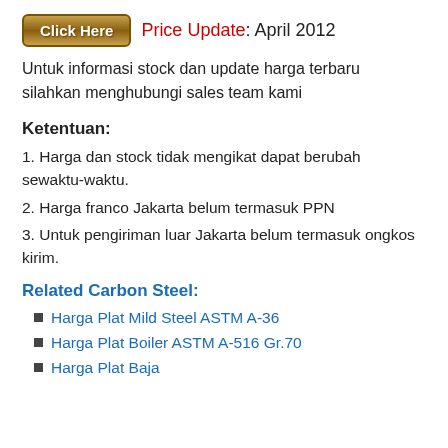Click Here  Price Update: April 2012
Untuk informasi stock dan update harga terbaru silahkan menghubungi sales team kami
Ketentuan:
1. Harga dan stock tidak mengikat dapat berubah sewaktu-waktu.
2. Harga franco Jakarta belum termasuk PPN
3. Untuk pengiriman luar Jakarta belum termasuk ongkos kirim.
Related Carbon Steel:
Harga Plat Mild Steel ASTM A-36
Harga Plat Boiler ASTM A-516 Gr.70
Harga Plat Baja